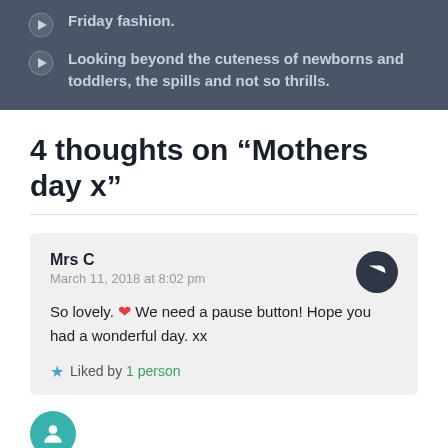Friday fashion.
Looking beyond the cuteness of newborns and toddlers, the spills and not so thrills.
4 thoughts on “Mothers day x”
Mrs C
March 11, 2018 at 8:02 pm
So lovely. ❤ We need a pause button! Hope you had a wonderful day. xx
Liked by 1 person